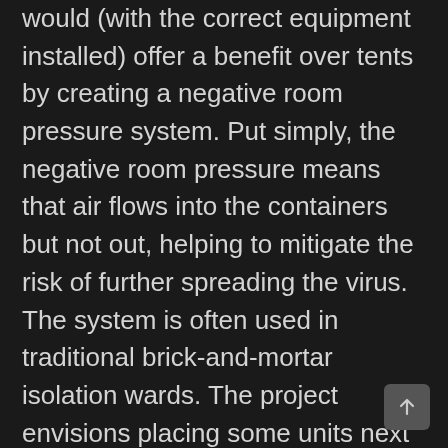would (with the correct equipment installed) offer a benefit over tents by creating a negative room pressure system. Put simply, the negative room pressure means that air flows into the containers but not out, helping to mitigate the risk of further spreading the virus. The system is often used in traditional brick-and-mortar isolation wards. The project envisions placing some units next to hospitals, such as in parking lots, for example, to expand ICU capacity, while others could be used to create field hospitals. It would also make use of shipping containers' easy transportation to move them around on trains, trucks and ships. The first prototype